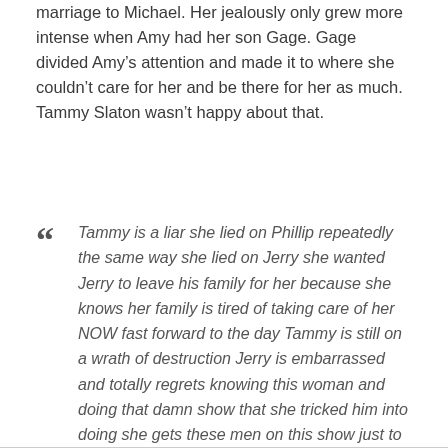marriage to Michael. Her jealously only grew more intense when Amy had her son Gage. Gage divided Amy’s attention and made it to where she couldn’t care for her and be there for her as much. Tammy Slaton wasn’t happy about that.
“ Tammy is a liar she lied on Phillip repeatedly the same way she lied on Jerry she wanted Jerry to leave his family for her because she knows her family is tired of taking care of her NOW fast forward to the day Tammy is still on a wrath of destruction Jerry is embarrassed and totally regrets knowing this woman and doing that damn show that she tricked him into doing she gets these men on this show just to